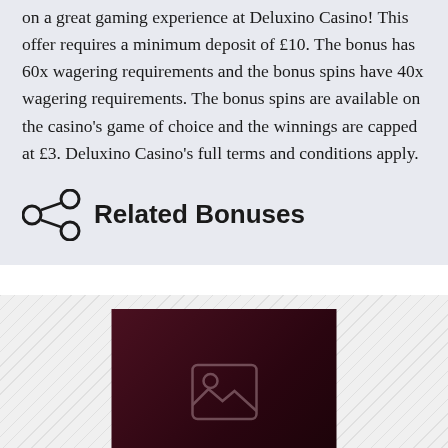on a great gaming experience at Deluxino Casino! This offer requires a minimum deposit of £10. The bonus has 60x wagering requirements and the bonus spins have 40x wagering requirements. The bonus spins are available on the casino's game of choice and the winnings are capped at £3. Deluxino Casino's full terms and conditions apply.
Related Bonuses
[Figure (photo): Dark maroon/burgundy placeholder image with image icon in center, on a diagonal striped background]
225% Up to €1.000 + 50 Extra Spins Welcome Package from SlotsPalace Casino
Code